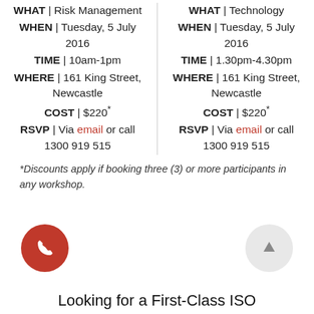WHAT | Risk Management
WHEN | Tuesday, 5 July 2016
TIME | 10am-1pm
WHERE | 161 King Street, Newcastle
COST | $220*
RSVP | Via email or call 1300 919 515
WHAT | Technology
WHEN | Tuesday, 5 July 2016
TIME | 1.30pm-4.30pm
WHERE | 161 King Street, Newcastle
COST | $220*
RSVP | Via email or call 1300 919 515
*Discounts apply if booking three (3) or more participants in any workshop.
[Figure (illustration): Red circle button with phone/call icon]
[Figure (illustration): Light grey circle button with upward arrow icon]
Looking for a First-Class ISO